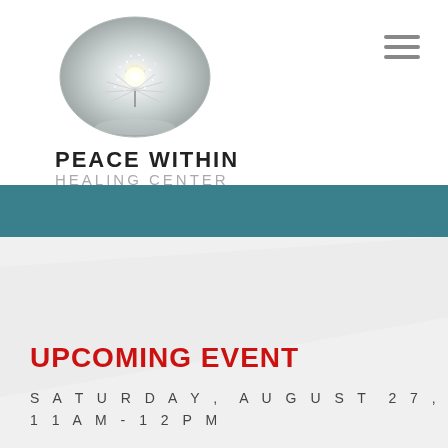[Figure (logo): Oval logo with a dandelion/fiber optic light burst image for Peace Within Healing Center]
PEACE WITHIN
HEALING CENTER
UPCOMING EVENT
SATURDAY, AUGUST 27,
11AM-12PM